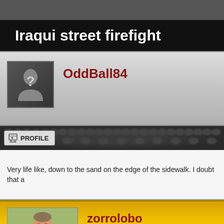Iraqui street firefight
OddBall84
PROFILE
Very life like, down to the sand on the edge of the sidewalk. I doubt that a
zorrolobo